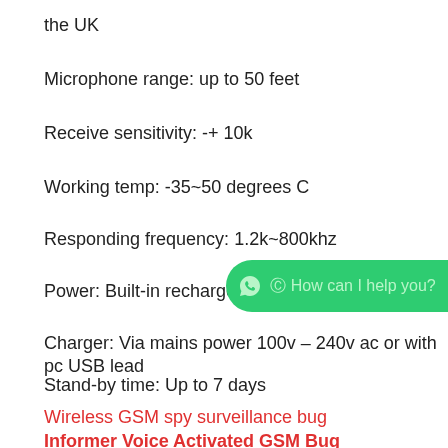the UK
Microphone range: up to 50 feet
Receive sensitivity: -+ 10k
Working temp: -35~50 degrees C
Responding frequency: 1.2k~800khz
Power: Built-in rechargeable b[attery]
[Figure (other): WhatsApp chat button overlay with text 'How can I help you?']
Charger: Via mains power 100v – 240v ac or with pc USB lead
Stand-by time: Up to 7 days
Dimension: 44 x 31 x 12 mm
Wireless GSM spy surveillance bug
Informer Voice Activated GSM Bug